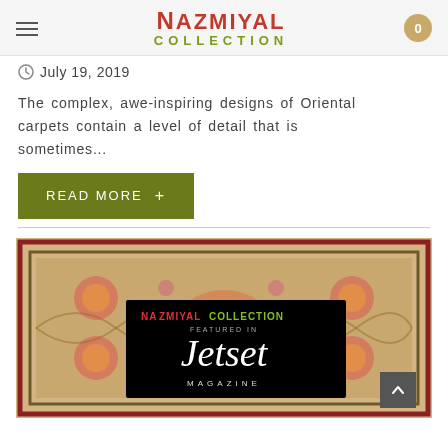Nazmiyal Collection
July 19, 2019
The complex, awe-inspiring designs of Oriental carpets contain a level of detail that is sometimes...
READ MORE +
[Figure (photo): A colorful ornate Oriental rug with detailed floral and medallion patterns. Overlaid with a black box featuring 'Nazmiyal Collection Featured in Jetset Magazine' text.]